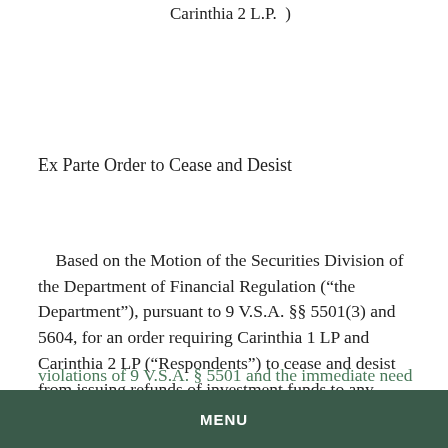Carinthia 2 L.P. )
Ex Parte Order to Cease and Desist
Based on the Motion of the Securities Division of the Department of Financial Regulation (“the Department”), pursuant to 9 V.S.A. §§ 5501(3) and 5604, for an order requiring Carinthia 1 LP and Carinthia 2 LP (“Respondents”) to cease and desist from issuing refunds of investment funds to any investor who has not either (a) reached the end of their conditional residence period or (b) executed a waiver substantially identical to the form attached as Exhibit A, pending further order of the Commissioner, based on violations of 9 V.S.A. § 5501 and the immediate need to protect the health and welfare of Vermont investors, the
MENU